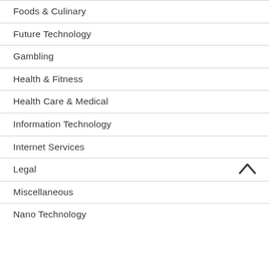Foods & Culinary
Future Technology
Gambling
Health & Fitness
Health Care & Medical
Information Technology
Internet Services
Legal
Miscellaneous
Nano Technology